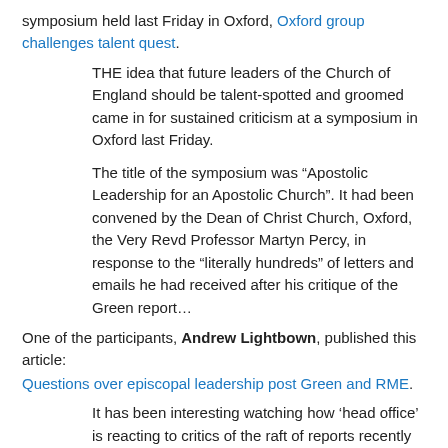symposium held last Friday in Oxford, Oxford group challenges talent quest.
THE idea that future leaders of the Church of England should be talent-spotted and groomed came in for sustained criticism at a symposium in Oxford last Friday.
The title of the symposium was “Apostolic Leadership for an Apostolic Church”. It had been convened by the Dean of Christ Church, Oxford, the Very Revd Professor Martyn Percy, in response to the “literally hundreds” of letters and emails he had received after his critique of the Green report…
One of the participants, Andrew Lightbown, published this article: Questions over episcopal leadership post Green and RME.
It has been interesting watching how ‘head office’ is reacting to critics of the raft of reports recently issued on behalf of the Church of England.
For many it feels as though conversion about, and participation in, decision making processes are simply not